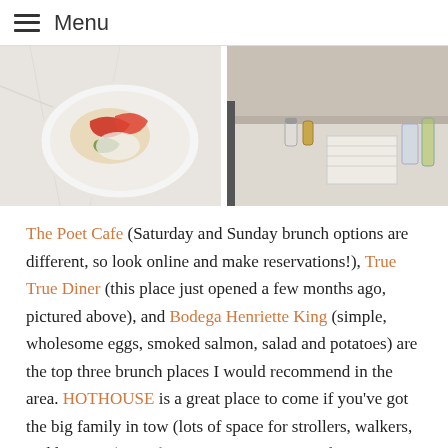Menu
[Figure (photo): Two food/restaurant photos side by side: left shows a plate of food with vegetables and sauce on a marble surface; right shows a restaurant table setting with condiments and a napkin.]
The Poet Cafe (Saturday and Sunday brunch options are different, so look online and make reservations!), True True Diner (this place just opened a few months ago, pictured above), and Bodega Henriette King (simple, wholesome eggs, smoked salmon, salad and potatoes) are the top three brunch places I would recommend in the area. HOTHOUSE is a great place to come if you've got the big family in tow (lots of space for strollers, walkers, and lounging). Fresh on Front is a nice spot for